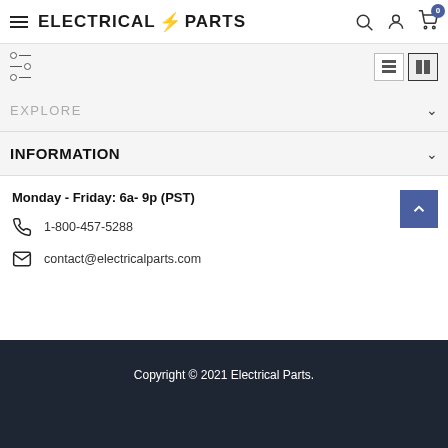ELECTRICAL ⚡ PARTS
EXPLORE
INFORMATION
Monday - Friday: 6a- 9p (PST)
1-800-457-5288
contact@electricalparts.com
Copyright © 2021 Electrical Parts.